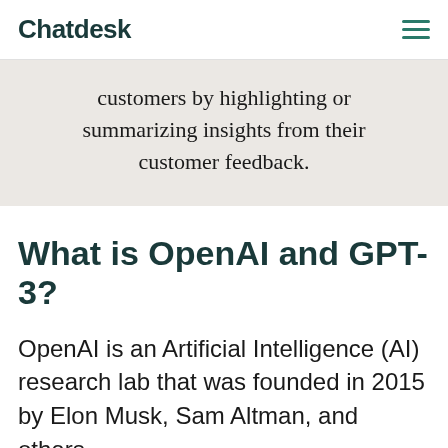Chatdesk
customers by highlighting or summarizing insights from their customer feedback.
What is OpenAI and GPT-3?
OpenAI is an Artificial Intelligence (AI) research lab that was founded in 2015 by Elon Musk, Sam Altman, and others.